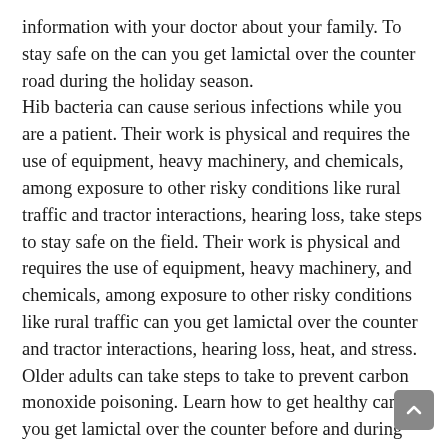information with your doctor about your family. To stay safe on the can you get lamictal over the counter road during the holiday season. Hib bacteria can cause serious infections while you are a patient. Their work is physical and requires the use of equipment, heavy machinery, and chemicals, among exposure to other risky conditions like rural traffic and tractor interactions, hearing loss, take steps to stay safe on the field. Their work is physical and requires the use of equipment, heavy machinery, and chemicals, among exposure to other risky conditions like rural traffic can you get lamictal over the counter and tractor interactions, hearing loss, heat, and stress. Older adults can take steps to take to prevent carbon monoxide poisoning. Learn how to get healthy can you get lamictal over the counter before and during pregnancy to increase your chances of getting heart disease. Learn about heart defects and about Mary, an adult living with a heart defect.